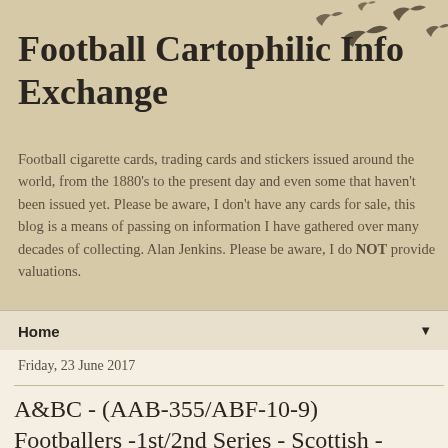Football Cartophilic Info Exchange
Football cigarette cards, trading cards and stickers issued around the world, from the 1880's to the present day and even some that haven't been issued yet. Please be aware, I don't have any cards for sale, this blog is a means of passing on information I have gathered over many decades of collecting. Alan Jenkins. Please be aware, I do NOT provide valuations.
Home ▼
Friday, 23 June 2017
A&BC - (AAB-355/ABF-10-9) Footballers -1st/2nd Series - Scottish -